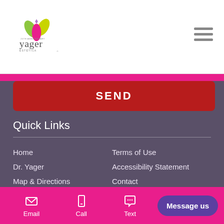[Figure (logo): Yager Estetica 25th anniversary logo with lotus flower icon in pink and green]
SEND
Quick Links
Home
Dr. Yager
Map & Directions
Blog
What's New
Terms of Use
Accessibility Statement
Contact
Espanol
Site Map
Contact Us
Email
Call
Text
Message us